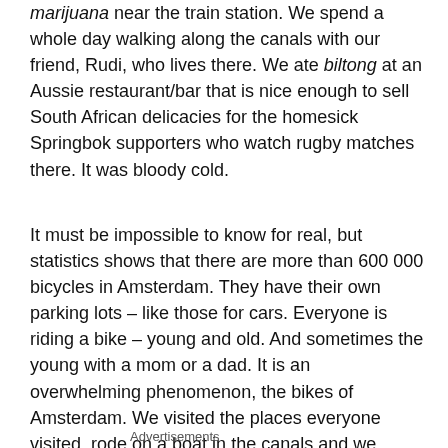marijuana near the train station. We spend a whole day walking along the canals with our friend, Rudi, who lives there. We ate biltong at an Aussie restaurant/bar that is nice enough to sell South African delicacies for the homesick Springbok supporters who watch rugby matches there. It was bloody cold.
It must be impossible to know for real, but statistics shows that there are more than 600 000 bicycles in Amsterdam. They have their own parking lots – like those for cars. Everyone is riding a bike – young and old. And sometimes the young with a mom or a dad. It is an overwhelming phenomenon, the bikes of Amsterdam. We visited the places everyone visited, rode on a boat in the canals and we walked and walked and walked. And it was bloody cold.
Advertisements